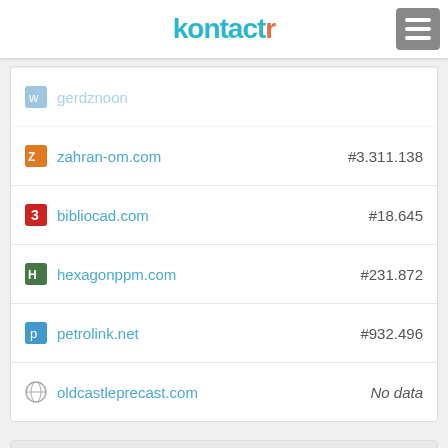kontactr
| Domain | Alexa Rank |
| --- | --- |
| gerdznoon |  |
| zahran-om.com | #3.311.138 |
| bibliocad.com | #18.645 |
| hexagonppm.com | #231.872 |
| petrolink.net | #932.496 |
| oldcastleprecast.com | No data |
BROWSE SEO REPORTS
| Domain | Alexa Rank |
| --- | --- |